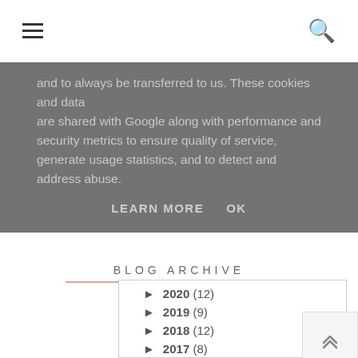Navigation bar with hamburger menu and search icon
are shared with Google along with performance and security metrics to ensure quality of service, generate usage statistics, and to detect and address abuse.
LEARN MORE   OK
BLOG ARCHIVE
► 2020 (12)
► 2019 (9)
► 2018 (12)
► 2017 (8)
▼ 2016 (45)
► December (4)
► October (5)
► September (3)
► August (4)